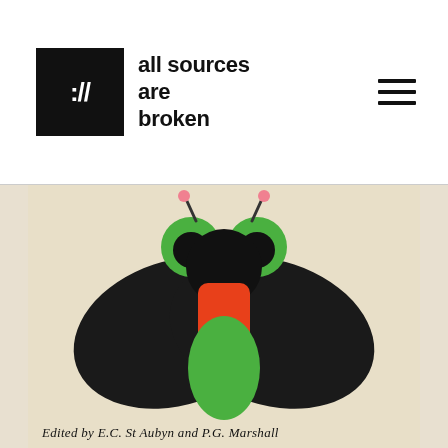:// all sources are broken
[Figure (illustration): Stylized graphic illustration of a fly/insect viewed from above. The insect has large circular green compound eyes with smaller dark circles inside, a black head, a bright orange-red thorax/body section, large black wings spread to the sides, and a green oval abdomen. Two pink-tipped antennae extend from the top of the head. The illustration is printed on a cream/aged paper background. At the bottom, handwritten cursive text reads: 'Edited by E.C. St Aubyn and P.G. Marshall']